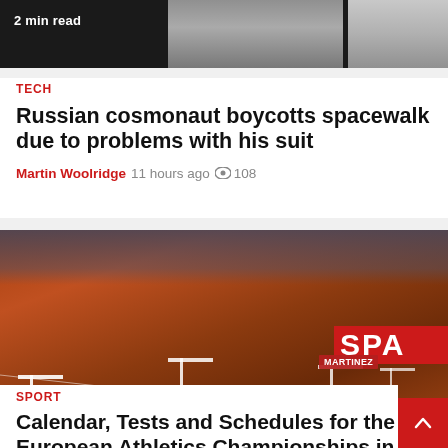[Figure (photo): Top banner image showing 2 min read label with sports/tech imagery on dark background]
2 min read
TECH
Russian cosmonaut boycotts spacewalk due to problems with his suit
Martin Woolridge  11 hours ago  👁 108
[Figure (photo): Hurdles race photo from European Athletics Championships Munich, athletes mid-race, one fallen on track, Martinez visible on right, SPA banner in background, 2 min read label]
2 min read
SPORT
Calendar, Tests and Schedules for the European Athletics Championships in Munich: Today's Program and Sports